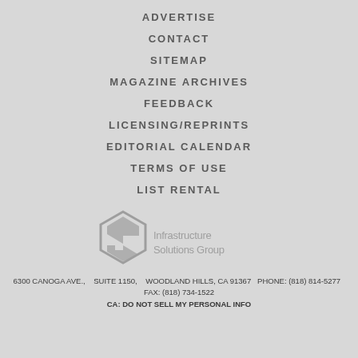ADVERTISE
CONTACT
SITEMAP
MAGAZINE ARCHIVES
FEEDBACK
LICENSING/REPRINTS
EDITORIAL CALENDAR
TERMS OF USE
LIST RENTAL
[Figure (logo): Infrastructure Solutions Group logo with stylized ISG letters and company name]
6300 CANOGA AVE.,   SUITE 1150,   WOODLAND HILLS, CA 91367   PHONE: (818) 814-5277   FAX: (818) 734-1522   CA: DO NOT SELL MY PERSONAL INFO